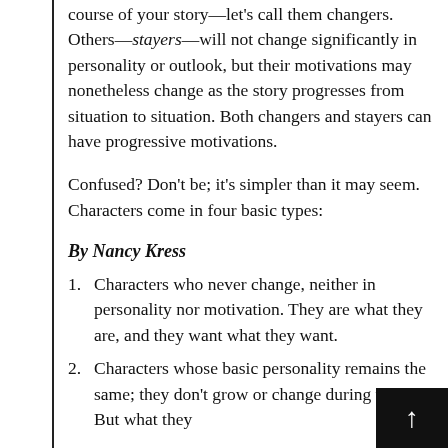course of your story—let's call them changers. Others—stayers—will not change significantly in personality or outlook, but their motivations may nonetheless change as the story progresses from situation to situation. Both changers and stayers can have progressive motivations.
Confused? Don't be; it's simpler than it may seem. Characters come in four basic types:
By Nancy Kress
Characters who never change, neither in personality nor motivation. They are what they are, and they want what they want.
Characters whose basic personality remains the same; they don't grow or change during the story. But what they